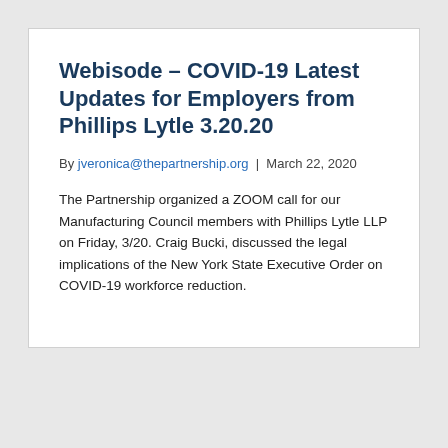Webisode – COVID-19 Latest Updates for Employers from Phillips Lytle 3.20.20
By jveronica@thepartnership.org  |  March 22, 2020
The Partnership organized a ZOOM call for our Manufacturing Council members with Phillips Lytle LLP on Friday, 3/20. Craig Bucki, discussed the legal implications of the New York State Executive Order on COVID-19 workforce reduction.